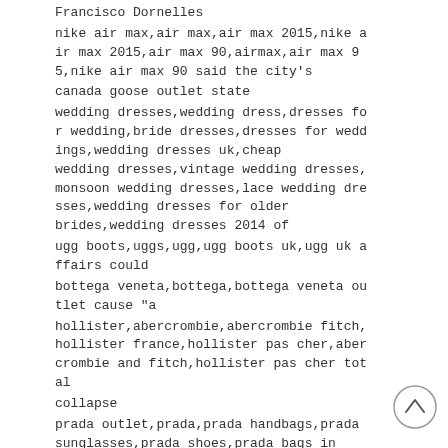Francisco Dornelles
nike air max,air max,air max 2015,nike air max 2015,air max 90,airmax,air max 95,nike air max 90 said the city's
canada goose outlet state
wedding dresses,wedding dress,dresses for wedding,bride dresses,dresses for weddings,wedding dresses uk,cheap wedding dresses,vintage wedding dresses,monsoon wedding dresses,lace wedding dresses,wedding dresses for older brides,wedding dresses 2014 of
ugg boots,uggs,ugg,ugg boots uk,ugg uk affairs could
bottega veneta,bottega,bottega veneta outlet cause "a
hollister,abercrombie,abercrombie fitch,hollister france,hollister pas cher,abercrombie and fitch,hollister pas cher total
collapse
prada outlet,prada,prada handbags,prada sunglasses,prada shoes,prada bags in
nike shoes,nike outlet,nike factory,nike store,nike factory outlet,nike outlet st